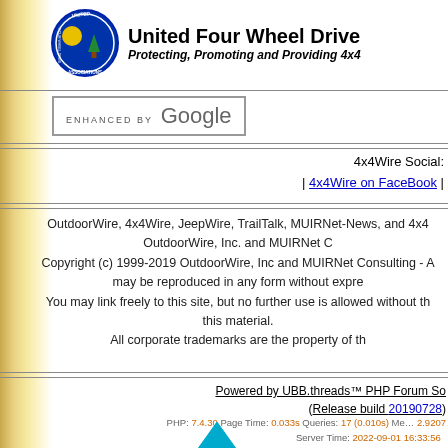United Four Wheel Drive Associations - Protecting, Promoting and Providing 4x4
[Figure (logo): United Four Wheel Drive Associations circular logo with blue background, yellow sun, green tree, and text around the border]
ENHANCED BY Google
4x4Wire Social: | 4x4Wire on FaceBook |
OutdoorWire, 4x4Wire, JeepWire, TrailTalk, MUiRNet-News, and 4x4 OutdoorWire, Inc. and MUIRNet C Copyright (c) 1999-2019 OutdoorWire, Inc and MUIRNet Consulting - A may be reproduced in any form without expre You may link freely to this site, but no further use is allowed without th this material. All corporate trademarks are the property of th
Powered by UBB.threads™ PHP Forum So (Release build 20190728)
PHP: 7.4.30 Page Time: 0.033s Queries: 17 (0.010s) Memory: 2.9207 Server Time: 2022-09-01 16:33:56 Valid HTML 5 and Valid CSS